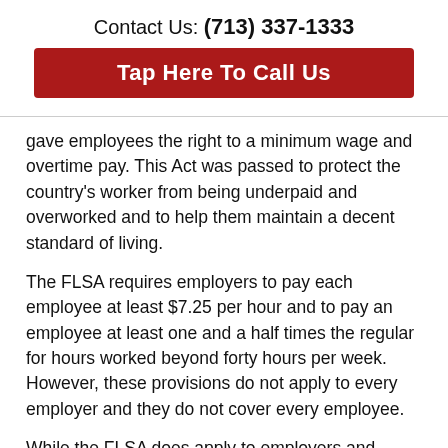Contact Us: (713) 337-1333
Tap Here To Call Us
gave employees the right to a minimum wage and overtime pay. This Act was passed to protect the country's worker from being underpaid and overworked and to help them maintain a decent standard of living.
The FLSA requires employers to pay each employee at least $7.25 per hour and to pay an employee at least one and a half times the regular for hours worked beyond forty hours per week. However, these provisions do not apply to every employer and they do not cover every employee.
While the FLSA does apply to employers and employees engaged in or affecting interstate commerce (individual coverage) or those employees employed by an